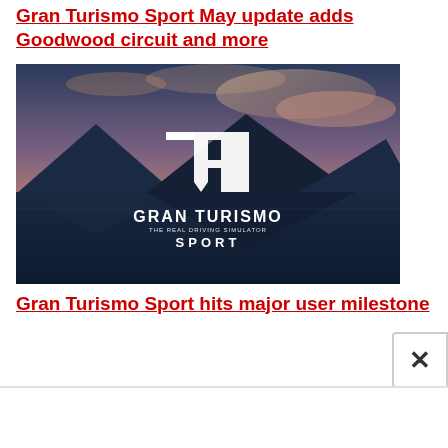Gran Turismo Sport May update adds Goodwood circuit and more
[Figure (photo): Gran Turismo Sport game cover image showing sunset over mountains reflected in water with the Gran Turismo Sport logo and tagline 'THE REAL DRIVING SIMULATOR']
Gran Turismo Sport hits major user milestone